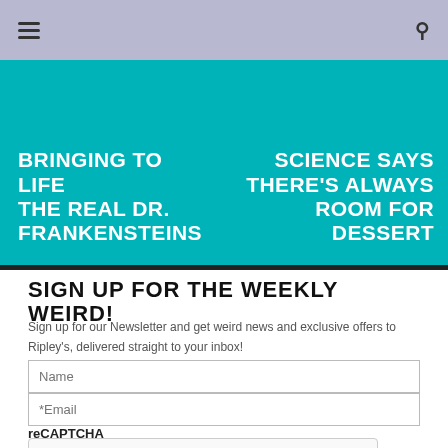☰ 🔍
[Figure (infographic): Teal banner with two article headlines side by side: left says 'BRINGING TO LIFE THE REAL DR. FRANKENSTEINS', right says 'SCIENCE SAYS THERE'S ALWAYS ROOM FOR DESSERT']
SIGN UP FOR THE WEEKLY WEIRD!
Sign up for our Newsletter and get weird news and exclusive offers to Ripley's, delivered straight to your inbox!
Name
*Email
reCAPTCHA